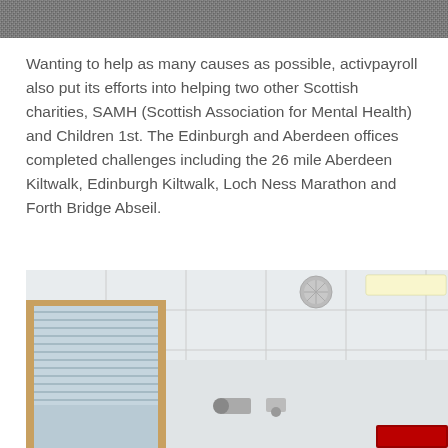[Figure (photo): Cropped top portion of a photo, showing a textured gray/dark woven fabric or surface.]
Wanting to help as many causes as possible, activpayroll also put its efforts into helping two other Scottish charities, SAMH (Scottish Association for Mental Health) and Children 1st. The Edinburgh and Aberdeen offices completed challenges including the 26 mile Aberdeen Kiltwalk, Edinburgh Kiltwalk, Loch Ness Marathon and Forth Bridge Abseil.
[Figure (photo): Interior office photograph showing a drop ceiling with white tiles and fluorescent lights, glass partition walls with venetian blinds, and a partial view of office space. A red sign is partially visible in the bottom right corner.]